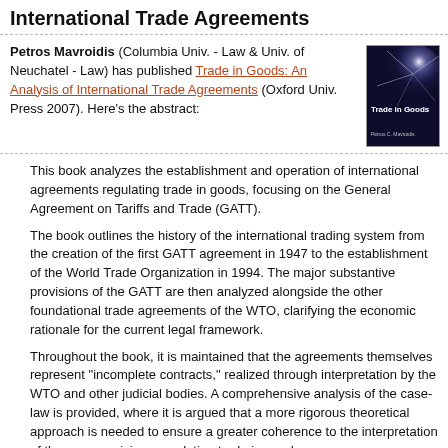International Trade Agreements
Petros Mavroidis (Columbia Univ. - Law & Univ. of Neuchatel - Law) has published Trade in Goods: An Analysis of International Trade Agreements (Oxford Univ. Press 2007). Here's the abstract:
[Figure (illustration): Book cover of 'Trade in Goods' by Petros Mavroidis, dark blue cover with light starburst graphic and white title text]
This book analyzes the establishment and operation of international agreements regulating trade in goods, focusing on the General Agreement on Tariffs and Trade (GATT).
The book outlines the history of the international trading system from the creation of the first GATT agreement in 1947 to the establishment of the World Trade Organization in 1994. The major substantive provisions of the GATT are then analyzed alongside the other foundational trade agreements of the WTO, clarifying the economic rationale for the current legal framework.
Throughout the book, it is maintained that the agreements themselves represent "incomplete contracts," realized through interpretation by the WTO and other judicial bodies. A comprehensive analysis of the case-law is provided, where it is argued that a more rigorous theoretical approach is needed to ensure a greater coherence to the interpretation of the core provisions regulating trade in goods.